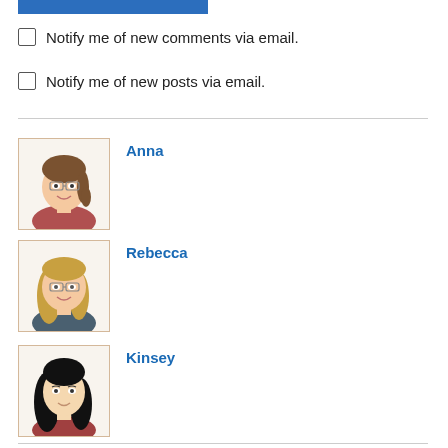[Figure (other): Blue button/bar at top left]
Notify me of new comments via email.
Notify me of new posts via email.
[Figure (illustration): Avatar illustration of Anna - woman with brown hair and glasses]
Anna
[Figure (illustration): Avatar illustration of Rebecca - woman with blonde hair and glasses]
Rebecca
[Figure (illustration): Avatar illustration of Kinsey - woman with long black hair]
Kinsey